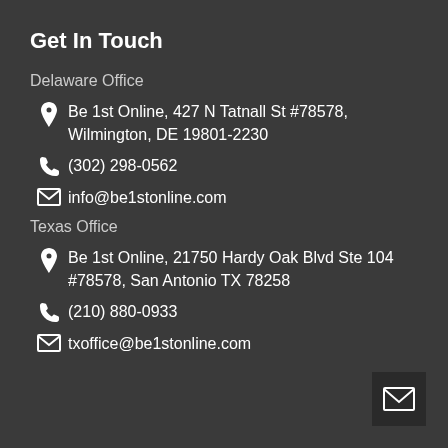Get In Touch
Delaware Office
Be 1st Online, 427 N Tatnall St #78578, Wilmington, DE 19801-2230
(302) 298-0562
info@be1stonline.com
Texas Office
Be 1st Online, 21750 Hardy Oak Blvd Ste 104 #78578, San Antonio TX 78258
(210) 880-0933
txoffice@be1stonline.com
[Figure (illustration): Small dark square icon with an envelope/mail symbol]